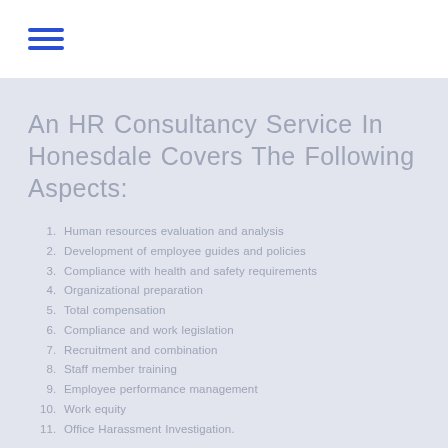[Figure (other): Hamburger menu icon with three horizontal blue lines]
An HR Consultancy Service In Honesdale Covers The Following Aspects:
Human resources evaluation and analysis
Development of employee guides and policies
Compliance with health and safety requirements
Organizational preparation
Total compensation
Compliance and work legislation
Recruitment and combination
Staff member training
Employee performance management
Work equity
Office Harassment Investigation.